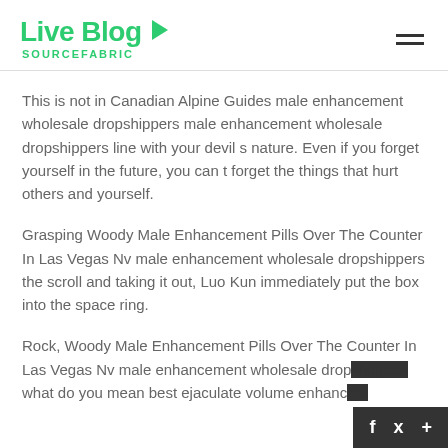Live Blog SOURCEFABRIC
This is not in Canadian Alpine Guides male enhancement wholesale dropshippers male enhancement wholesale dropshippers line with your devil s nature. Even if you forget yourself in the future, you can t forget the things that hurt others and yourself.
Grasping Woody Male Enhancement Pills Over The Counter In Las Vegas Nv male enhancement wholesale dropshippers the scroll and taking it out, Luo Kun immediately put the box into the space ring.
Rock, Woody Male Enhancement Pills Over The Counter In Las Vegas Nv male enhancement wholesale dropshippers what do you mean best ejaculate volume enhance